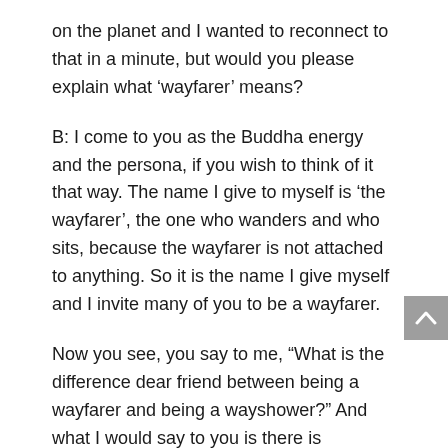on the planet and I wanted to reconnect to that in a minute, but would you please explain what ‘wayfarer’ means?
B: I come to you as the Buddha energy and the persona, if you wish to think of it that way. The name I give to myself is ‘the wayfarer’, the one who wanders and who sits, because the wayfarer is not attached to anything. So it is the name I give myself and I invite many of you to be a wayfarer.
Now you see, you say to me, “What is the difference dear friend between being a wayfarer and being a wayshower?” And what I would say to you is there is significant difference. The wayshower literally is helping to guide and